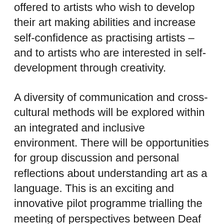offered to artists who wish to develop their art making abilities and increase self-confidence as practising artists – and to artists who are interested in self-development through creativity.
A diversity of communication and cross-cultural methods will be explored within an integrated and inclusive environment. There will be opportunities for group discussion and personal reflections about understanding art as a language. This is an exciting and innovative pilot programme trialling the meeting of perspectives between Deaf and hearing artists.
For more information:
Rachel Coppage, Art Therapist/Facilitator – Spark